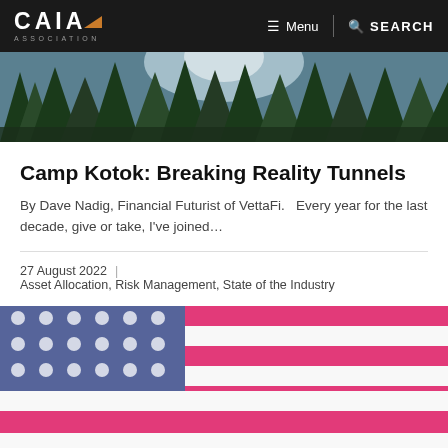CAIA ASSOCIATION — Menu | SEARCH
[Figure (photo): Forest panorama photo with tall pine/fir trees and blue sky/sunlight filtering through canopy]
Camp Kotok: Breaking Reality Tunnels
By Dave Nadig, Financial Futurist of VettaFi.   Every year for the last decade, give or take, I've joined...
27 August 2022  |  Asset Allocation, Risk Management, State of the Industry
[Figure (photo): Close-up blurred photo of an American flag showing stars and pink/red stripes]